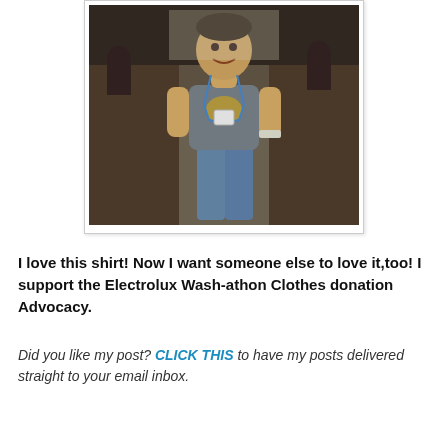[Figure (photo): A person standing in a large hall wearing a gray t-shirt with a yellow graphic, jeans, a lanyard with badge, and a watch. The background shows rows of seats and other people.]
I love this shirt! Now I want someone else to love it,too! I support the Electrolux Wash-athon Clothes donation Advocacy.
Did you like my post? CLICK THIS to have my posts delivered straight to your email inbox.